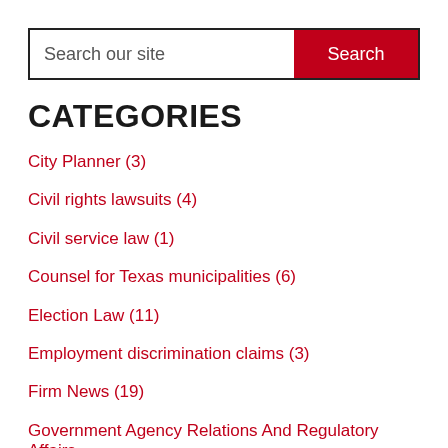[Figure (other): Search bar with text 'Search our site' and a red 'Search' button]
CATEGORIES
City Planner (3)
Civil rights lawsuits (4)
Civil service law (1)
Counsel for Texas municipalities (6)
Election Law (11)
Employment discrimination claims (3)
Firm News (19)
Government Agency Relations And Regulatory Affairs (5)